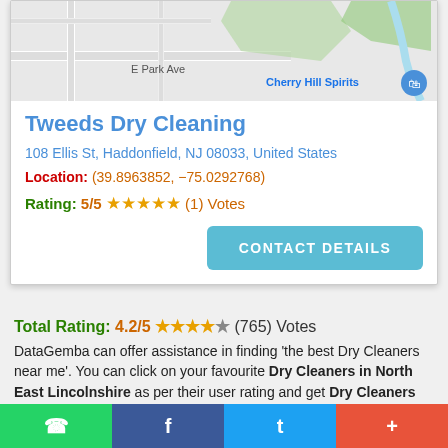[Figure (map): Street map showing location area with E Park Ave label and Cherry Hill Spirits marker]
Tweeds Dry Cleaning
108 Ellis St, Haddonfield, NJ 08033, United States
Location: (39.8963852, -75.0292768)
Rating: 5/5 ★★★★★ (1) Votes
CONTACT DETAILS
Total Rating: 4.2/5 ★★★★☆ (765) Votes
DataGemba can offer assistance in finding 'the best Dry Cleaners near me'. You can click on your favourite Dry Cleaners in North East Lincolnshire as per their user rating and get Dry Cleaners contact details like phone